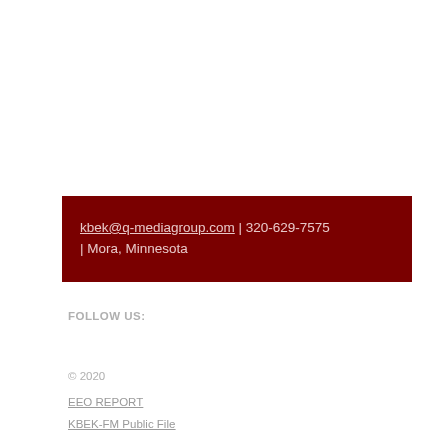kbek@q-mediagroup.com | 320-629-7575 | Mora, Minnesota
FOLLOW US:
© 2020
EEO REPORT
KBEK-FM Public File